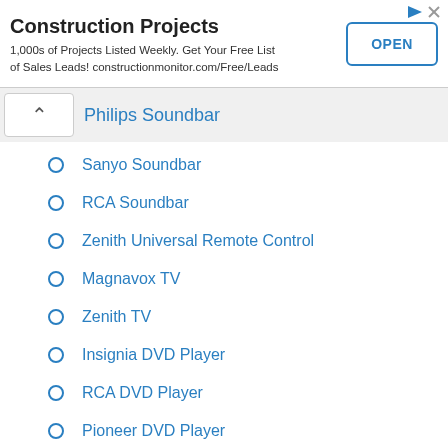[Figure (other): Advertisement banner for Construction Projects - constructionmonitor.com/Free/Leads with an OPEN button]
Philips Soundbar
Sanyo Soundbar
RCA Soundbar
Zenith Universal Remote Control
Magnavox TV
Zenith TV
Insignia DVD Player
RCA DVD Player
Pioneer DVD Player